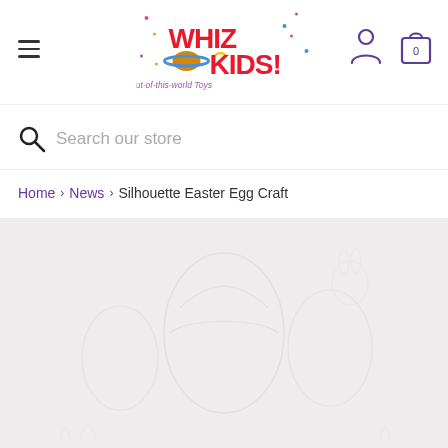[Figure (logo): Whiz Kids! Out-of-this-world Toys logo with colorful planet and stars]
Search our store
Home > News > Silhouette Easter Egg Craft
[Figure (photo): Light gray background with faint silhouette Easter egg craft illustration]